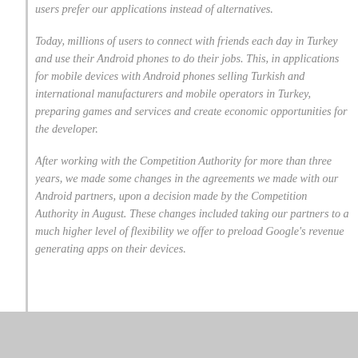users prefer our applications instead of alternatives.
Today, millions of users to connect with friends each day in Turkey and use their Android phones to do their jobs. This, in applications for mobile devices with Android phones selling Turkish and international manufacturers and mobile operators in Turkey, preparing games and services and create economic opportunities for the developer.
After working with the Competition Authority for more than three years, we made some changes in the agreements we made with our Android partners, upon a decision made by the Competition Authority in August. These changes included taking our partners to a much higher level of flexibility we offer to preload Google's revenue generating apps on their devices.